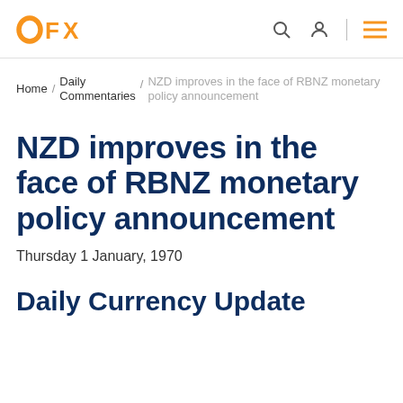OFX
Home / Daily Commentaries / NZD improves in the face of RBNZ monetary policy announcement
NZD improves in the face of RBNZ monetary policy announcement
Thursday 1 January, 1970
Daily Currency Update